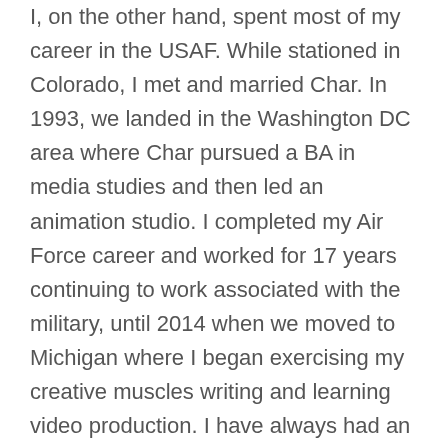I, on the other hand, spent most of my career in the USAF. While stationed in Colorado, I met and married Char. In 1993, we landed in the Washington DC area where Char pursued a BA in media studies and then led an animation studio. I completed my Air Force career and worked for 17 years continuing to work associated with the military, until 2014 when we moved to Michigan where I began exercising my creative muscles writing and learning video production. I have always had an eye for imagery and have won awards for imagery analysis.
Michigan captured our hearts as we fell in love with the scenery and the people. In 2016, we attended a Keuring, which is a judging venue of Friesian foals, mares, and stallions. Having only admired the horses in movies, we were overwhelmed by their beauty; I had lots of